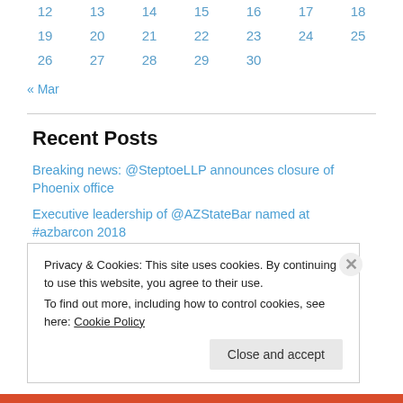| 12 | 13 | 14 | 15 | 16 | 17 | 18 |
| 19 | 20 | 21 | 22 | 23 | 24 | 25 |
| 26 | 27 | 28 | 29 | 30 |  |  |
« Mar
Recent Posts
Breaking news: @SteptoeLLP announces closure of Phoenix office
Executive leadership of @AZStateBar named at #azbarcon 2018
Arizona Collaborative Bar addresses diversity issues at corporate counsel event
Sexual harassment seminar, survey offered by @AZStateBar
Privacy & Cookies: This site uses cookies. By continuing to use this website, you agree to their use. To find out more, including how to control cookies, see here: Cookie Policy